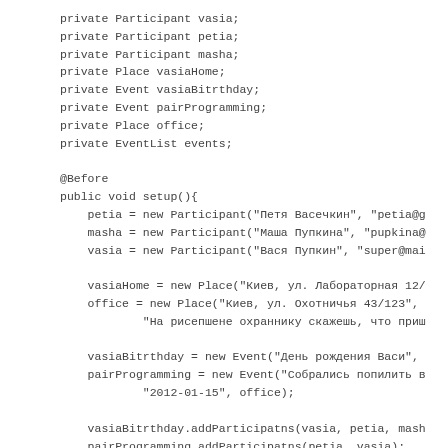private Participant vasia;
    private Participant petia;
    private Participant masha;
    private Place vasiaHome;
    private Event vasiaBitrthday;
    private Event pairProgramming;
    private Place office;
    private EventList events;

    @Before
    public void setup(){
        petia = new Participant("Петя Васечкин", "petia@g
        masha = new Participant("Маша Пупкина", "pupkina@
        vasia = new Participant("Вася Пупкин", "super@mai

        vasiaHome = new Place("Киев, ул. Лабораторная 12/
        office = new Place("Киев, ул. Охотничья 43/123",
                "На рисепшене охраннику скажешь, что приш

        vasiaBitrthday = new Event("День рождения Васи",
        pairProgramming = new Event("Собрались попилить в
                "2012-01-15", office);

        vasiaBitrthday.addParticipatns(vasia, petia, mash
        pairProgramming.addParticipatns(petia, vasia);
        events = new EventList(vasiaBitrthday, pairProgra
    }